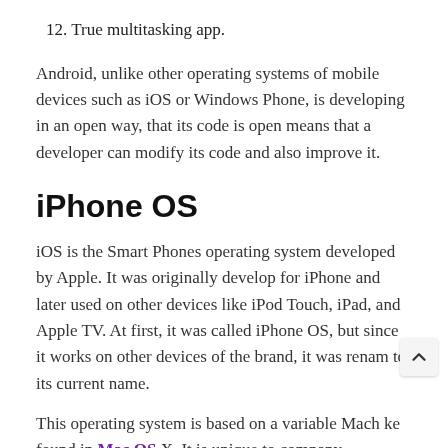12. True multitasking app.
Android, unlike other operating systems of mobile devices such as iOS or Windows Phone, is developing in an open way, that its code is open means that a developer can modify its code and also improve it.
iPhone OS
iOS is the Smart Phones operating system developed by Apple. It was originally develop for iPhone and later used on other devices like iPod Touch, iPad, and Apple TV. At first, it was called iPhone OS, but since it works on other devices of the brand, it was renam to its current name.
This operating system is based on a variable Mach ke found in Mac OS X. It is unique to company technology, meaning Apple does not allow the installation of iOS on